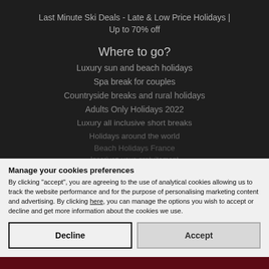Last Minute Ski Deals - Late & Low Price Holidays | Up to 70% off
Where to go?
Luxury sun and beach holidays
Spa break for couples
Countryside breaks and rural holidays
Adults Only Holidays 2022
Luxury all inclusive short breaks
Holidays around the world
Beach Holidays France
Inscrivez-vous gratuitement
Manage your cookies preferences
By clicking "accept", you are agreeing to the use of analytical cookies allowing us to track the website performance and for the purpose of personalising marketing content and advertising. By clicking here, you can manage the options you wish to accept or decline and get more information about the cookies we use.
Decline
Accept